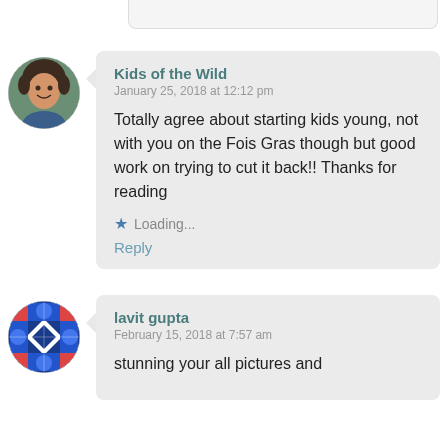[Figure (other): Top partial comment bubble visible at top of page]
[Figure (photo): Avatar of Kids of the Wild commenter: woman with curly hair wearing blue, circular crop]
Kids of the Wild
January 25, 2018 at 12:12 pm

Totally agree about starting kids young, not with you on the Fois Gras though but good work on trying to cut it back!! Thanks for reading

★ Loading...
Reply
[Figure (illustration): Avatar of lavit gupta commenter: colorful geometric/snowflake pattern, circular crop]
lavit gupta
February 15, 2018 at 7:57 am

stunning your all pictures and